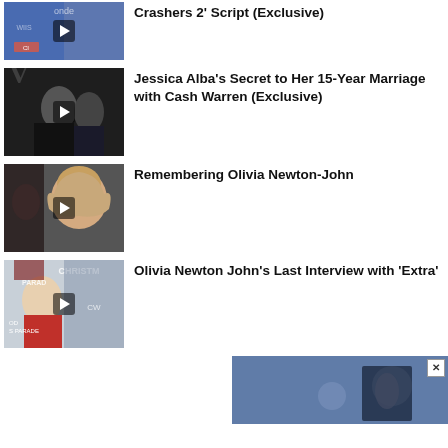Crashers 2' Script (Exclusive)
[Figure (photo): Thumbnail image of man in suit with play button overlay]
Jessica Alba's Secret to Her 15-Year Marriage with Cash Warren (Exclusive)
[Figure (photo): Thumbnail image of couple at formal event with play button overlay]
Remembering Olivia Newton-John
[Figure (photo): Thumbnail image of Olivia Newton-John with play button overlay]
Olivia Newton John's Last Interview with 'Extra'
[Figure (photo): Thumbnail image of Olivia Newton-John in red jacket with play button overlay]
[Figure (photo): Advertisement banner image with close button X, showing blurred dark figure]